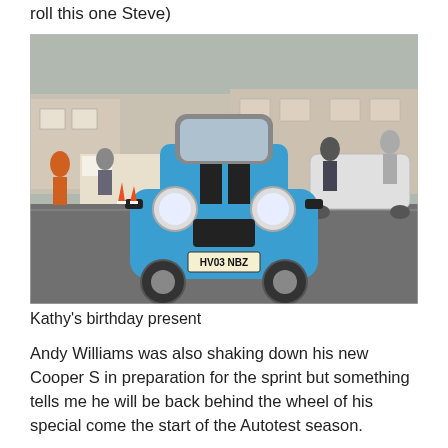roll this one Steve)
[Figure (photo): A blue MINI Cooper S with black stripes on the bonnet, registration plate HV03 NBZ, photographed head-on at a motorsport event. People and buildings visible in the background.]
Kathy's birthday present
Andy Williams was also shaking down his new Cooper S in preparation for the sprint but something tells me he will be back behind the wheel of his special come the start of the Autotest season.